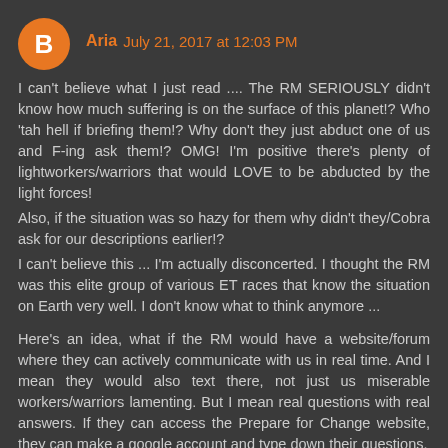Aria July 21, 2017 at 12:03 PM
I can't believe what I just read .... The RM SERIOUSLY didn't know how much suffering is on the surface of this planet!? Who 'tah hell if briefing them!? Why don't they just abduct one of us and F-ing ask them!? OMG! I'm positive there's plenty of lightworkers/warriors that would LOVE to be abducted by the light forces!
Also, if the situation was so hazy for them why didn't they/Cobra ask for our descriptions earlier!?
I can't believe this ... I'm actually disconcerted. I thought the RM was this elite group of various ET races that know the situation on Earth very well. I don't know what to think anymore ...
Here's an idea, what if the RM would have a website/forum where they can actively communicate with us in real time. And I mean they would also text there, not just us miserable workers/warriors lamenting. But I mean real questions with real answers. If they can access the Prepare for Change website, they can make a google account and type down their questions.